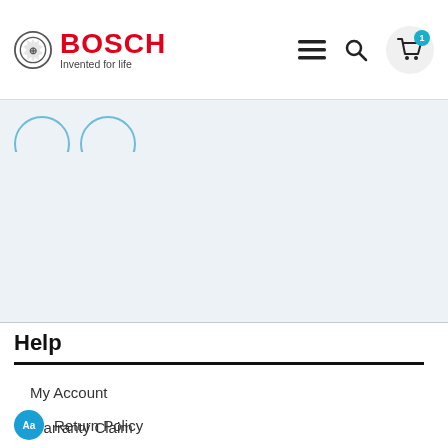[Figure (logo): Bosch logo with circle emblem, red BOSCH text, and tagline 'Invented for life']
[Figure (screenshot): Navigation icons: hamburger menu, search, and shopping cart with badge showing 1]
[Figure (illustration): Two partially visible blue-outline circles at the top of a gray section]
Help
My Account
Warranty Claim
Contact Us
Return Policy